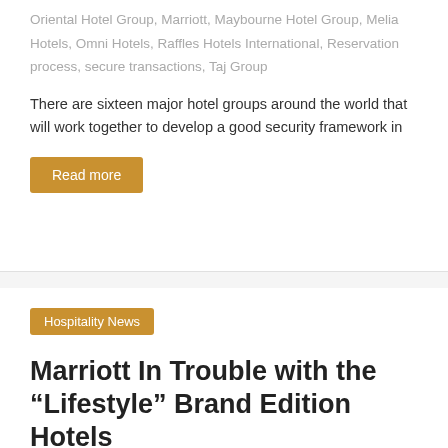Oriental Hotel Group, Marriott, Maybourne Hotel Group, Melia Hotels, Omni Hotels, Raffles Hotels International, Reservation process, secure transactions, Taj Group
There are sixteen major hotel groups around the world that will work together to develop a good security framework in
Read more
Hospitality News
Marriott In Trouble with the “Lifestyle” Brand Edition Hotels
October 28, 2011   Hotel Manager   Best Hotels, boutique hotelier, Edition hotels, Hotel Chains, lifestyle hotel, luxury hotel market, Marriott
With only two Edition hotels in operation since four years